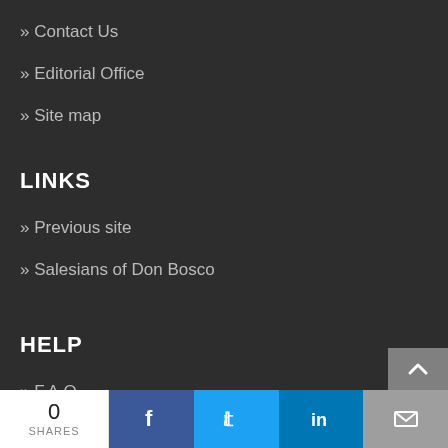Contact Us
Editorial Office
Site map
LINKS
Previous site
Salesians of Don Bosco
HELP
F.A.Q.
Cookies Policy
Privacy Policy
[Figure (screenshot): Social sharing bar at the bottom with share count (0 SHARES), Facebook, Twitter, LinkedIn, and email buttons]